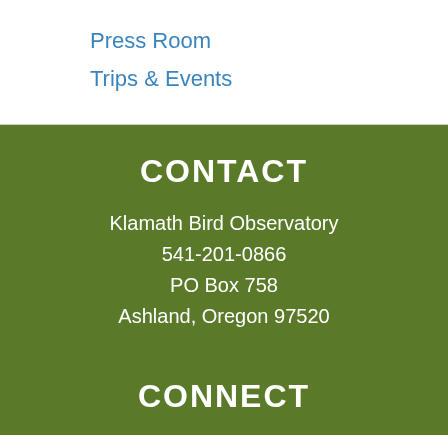Press Room
Trips & Events
CONTACT
Klamath Bird Observatory
541-201-0866
PO Box 758
Ashland, Oregon 97520
CONTACT US ▶
CONNECT